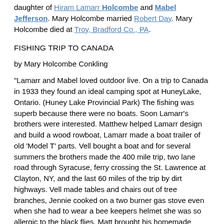daughter of Hiram Lamarr Holcombe and Mabel Jefferson. Mary Holcombe married Robert Day. Mary Holcombe died at Troy, Bradford Co., PA.
FISHING TRIP TO CANADA
by Mary Holcombe Conkling
"Lamarr and Mabel loved outdoor live. On a trip to Canada in 1933 they found an ideal camping spot at HuneyLake, Ontario. (Huney Lake Provincial Park) The fishing was superb because there were no boats. Soon Lamarr's brothers were interested. Matthew helped Lamarr design and build a wood rowboat, Lamarr made a boat trailer of old 'Model T' parts. Vell bought a boat and for several summers the brothers made the 400 mile trip, two lane road through Syracuse, ferry crossing the St. Lawrence at Clayton, NY, and the last 60 miles of the trip by dirt highways. Vell made tables and chairs out of tree branches, Jennie cooked on a two burner gas stove even when she had to wear a bee keepers helmet she was so allergic to the black flies. Matt brought his homemade house trailer but Vell and Lamarr used tents. All their children were invited and many came. The main dish was fish fresh caught, blue-berry pie, oatmeal with evaporated milk, etc. The campout took to rice in Burleigh, Ontario